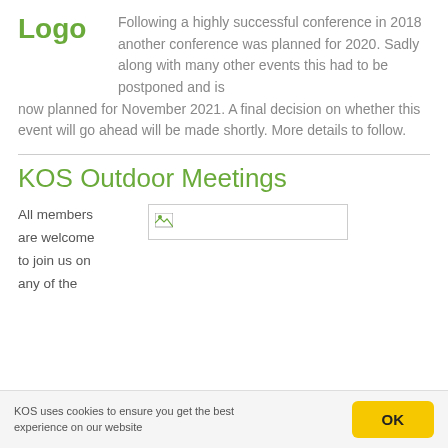[Figure (logo): Logo text in green]
Following a highly successful conference in 2018 another conference was planned for 2020. Sadly along with many other events this had to be postponed and is now planned for November 2021. A final decision on whether this event will go ahead will be made shortly. More details to follow.
KOS Outdoor Meetings
[Figure (photo): Placeholder image box with broken image icon]
All members are welcome to join us on any of the
KOS uses cookies to ensure you get the best experience on our website